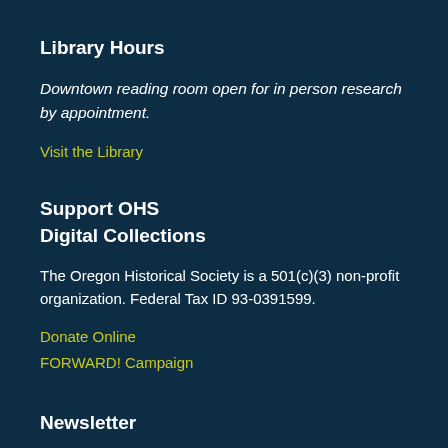Library Hours
Downtown reading room open for in person research by appointment.
Visit the Library
Support OHS Digital Collections
The Oregon Historical Society is a 501(c)(3) non-profit organization. Federal Tax ID 93-0391599.
Donate Online
FORWARD! Campaign
Newsletter
Want to keep up with the latest news from The Oregon